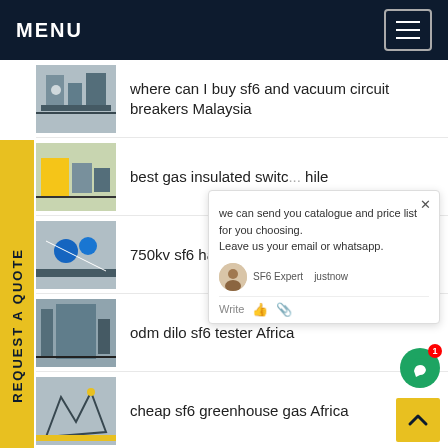MENU
where can I buy sf6 and vacuum circuit breakers Malaysia
best gas insulated switc... hile
750kv sf6 has Singapore...
odm dilo sf6 tester Africa
cheap sf6 greenhouse gas Africa
where to buy dilo gas cart rental Ecuador
[Figure (screenshot): Chat popup overlay: 'we can send you catalogue and price list for you choosing. Leave us your email or whatsapp.' with SF6 Expert avatar showing 'justnow', Write field with like and attach icons]